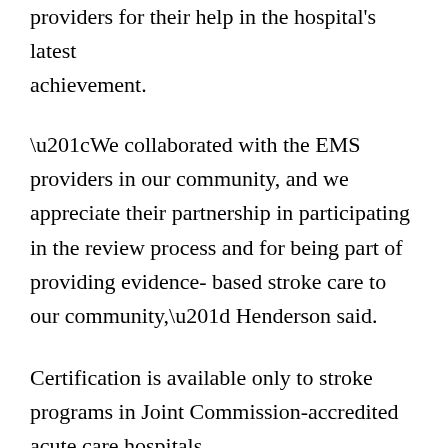providers for their help in the hospital's latest achievement.
“We collaborated with the EMS providers in our community, and we appreciate their partnership in participating in the review process and for being part of providing evidence- based stroke care to our community,” Henderson said.
Certification is available only to stroke programs in Joint Commission-accredited acute care hospitals.
“Gadsden Regional is thoroughly committed to providing patients in Etowah County and the surrounding areas with high quality care,” Stephen Pennington, chief executive officer at Gadsden Regional said.